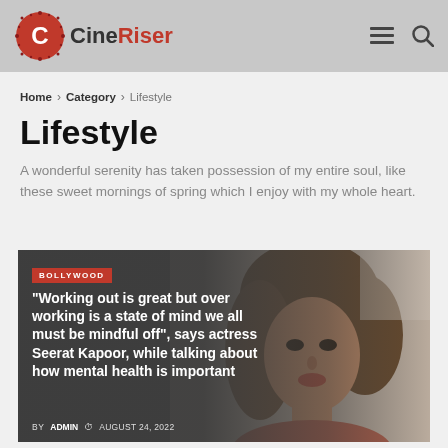CineRiser
Home > Category > Lifestyle
Lifestyle
A wonderful serenity has taken possession of my entire soul, like these sweet mornings of spring which I enjoy with my whole heart.
[Figure (photo): Article card with photo of actress Seerat Kapoor, red BOLLYWOOD tag, headline and byline]
“Working out is great but over working is a state of mind we all must be mindful off”, says actress Seerat Kapoor, while talking about how mental health is important
BY ADMIN © AUGUST 24, 2022